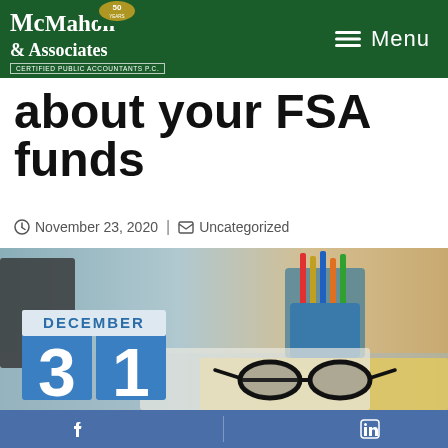McMahon & Associates | Menu
about your FSA funds
November 23, 2020 | Uncategorized
[Figure (photo): Photo of a desktop scene with blue calendar blocks showing DECEMBER 31, pencils in a cup, a spiral notebook, and glasses on a yellow notebook]
Facebook | LinkedIn